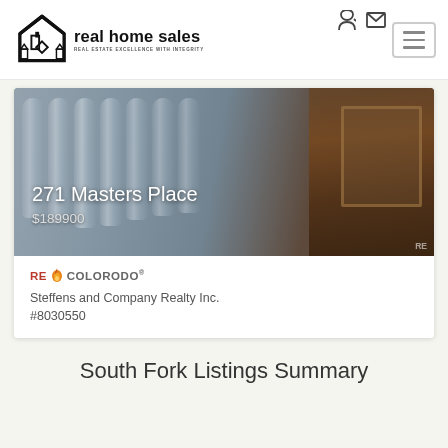real home sales — REAL ESTATE EXCELLENCE WITH INTEGRITY
[Figure (photo): Property listing photo showing a tufted upholstered sofa/headboard in grey-blue fabric with dark wood furniture on the right side. Overlaid text reads '271 Masters Place' and '$189900'.]
RE/COLORADO® Steffens and Company Realty Inc. #8030550
South Fork Listings Summary